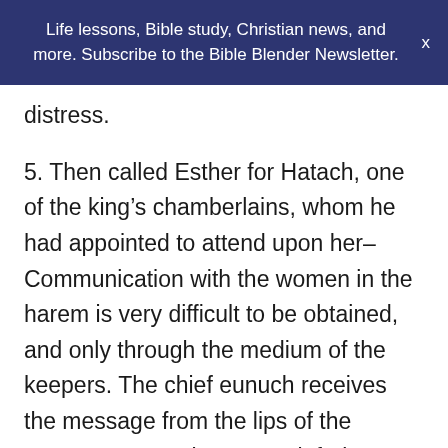Life lessons, Bible study, Christian news, and more. Subscribe to the Bible Blender Newsletter. ×
distress.
5. Then called Esther for Hatach, one of the king's chamberlains, whom he had appointed to attend upon her– Communication with the women in the harem is very difficult to be obtained, and only through the medium of the keepers. The chief eunuch receives the message from the lips of the queen, conveys it to some inferior office of the seraglio. When the commission is executed, the subaltern